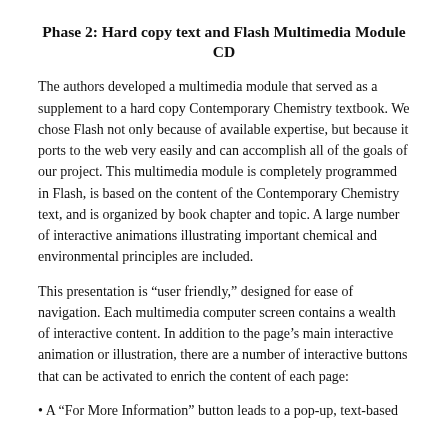Phase 2: Hard copy text and Flash Multimedia Module CD
The authors developed a multimedia module that served as a supplement to a hard copy Contemporary Chemistry textbook. We chose Flash not only because of available expertise, but because it ports to the web very easily and can accomplish all of the goals of our project. This multimedia module is completely programmed in Flash, is based on the content of the Contemporary Chemistry text, and is organized by book chapter and topic. A large number of interactive animations illustrating important chemical and environmental principles are included.
This presentation is “user friendly,” designed for ease of navigation. Each multimedia computer screen contains a wealth of interactive content. In addition to the page’s main interactive animation or illustration, there are a number of interactive buttons that can be activated to enrich the content of each page:
• A “For More Information” button leads to a pop-up, text-based